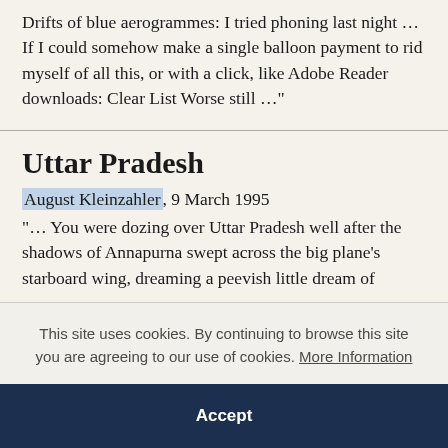Drifts of blue aerogrammes: I tried phoning last night … If I could somehow make a single balloon payment to rid myself of all this, or with a click, like Adobe Reader downloads: Clear List Worse still …"
Uttar Pradesh
August Kleinzahler, 9 March 1995
"… You were dozing over Uttar Pradesh well after the shadows of Annapurna swept across the big plane's starboard wing, dreaming a peevish little dream of
This site uses cookies. By continuing to browse this site you are agreeing to our use of cookies. More Information
Accept